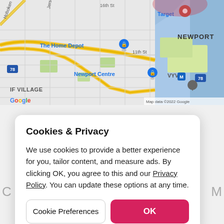[Figure (map): Google Maps screenshot showing Newport area in Jersey City, NJ. Shows The Home Depot, Target, Newport Centre, VYV locations with map pins. Shows street grid, waterfront, highway 78, NEWPORT label, IF VILLAGE label, Google branding, and 'Map data ©2022 Google' credit.]
Cookies & Privacy
We use cookies to provide a better experience for you, tailor content, and measure ads. By clicking OK, you agree to this and our Privacy Policy. You can update these options at any time.